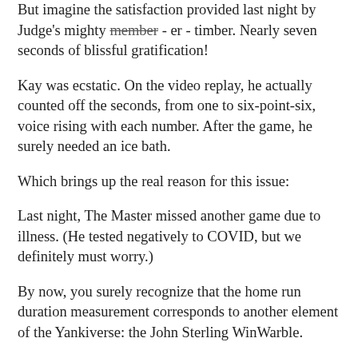But imagine the satisfaction provided last night by Judge's mighty member - er - timber. Nearly seven seconds of blissful gratification!
Kay was ecstatic. On the video replay, he actually counted off the seconds, from one to six-point-six, voice rising with each number. After the game, he surely needed an ice bath.
Which brings up the real reason for this issue:
Last night, The Master missed another game due to illness. (He tested negatively to COVID, but we definitely must worry.)
By now, you surely recognize that the home run duration measurement corresponds to another element of the Yankiverse: the John Sterling WinWarble.
Historically, John's final shout - "Ballgame over, Yankees win, Thuuuuh Yankees winnnnn..." - runs between five and six seconds - timed precisely to the explosion within each Yankee fan's loins. (A few WinWarbles have gone past seven seconds, but it is a feat of extraordinary effort.)